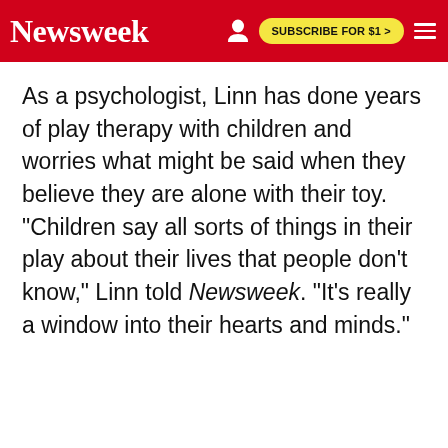Newsweek | SUBSCRIBE FOR $1 >
As a psychologist, Linn has done years of play therapy with children and worries what might be said when they believe they are alone with their toy. "Children say all sorts of things in their play about their lives that people don't know," Linn told Newsweek. "It's really a window into their hearts and minds."